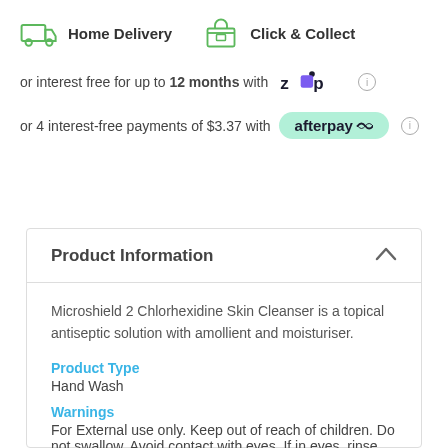[Figure (infographic): Home Delivery icon (green truck outline) and Click & Collect icon (green shop/store outline) with bold labels]
or interest free for up to 12 months with [Zip logo]
or 4 interest-free payments of $3.37 with [Afterpay logo]
Product Information
Microshield 2 Chlorhexidine Skin Cleanser is a topical antiseptic solution with amollient and moisturiser.
Product Type
Hand Wash
Warnings
For External use only. Keep out of reach of children. Do not swallow. Avoid contact with eyes. If in eyes, rinse well